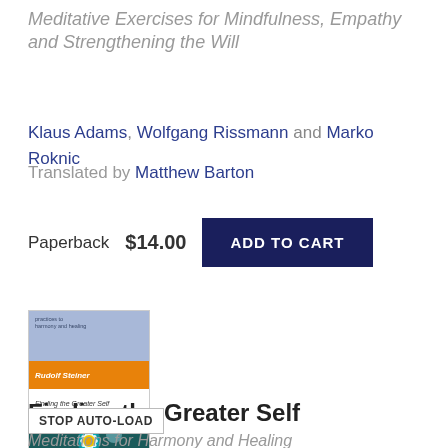Meditative Exercises for Mindfulness, Empathy and Strengthening the Will
Klaus Adams, Wolfgang Rissmann and Marko Roknic
Translated by Matthew Barton
Paperback  $14.00  ADD TO CART
[Figure (photo): Book cover of 'Finding the Greater Self' by Rudolf Steiner, featuring a light blue top section with small text, an orange band with the author name, white section with title in italic, and a dark teal bottom section with a daisy flower image.]
Finding the Greater Self
Meditations for Harmony and Healing
STOP AUTO-LOAD